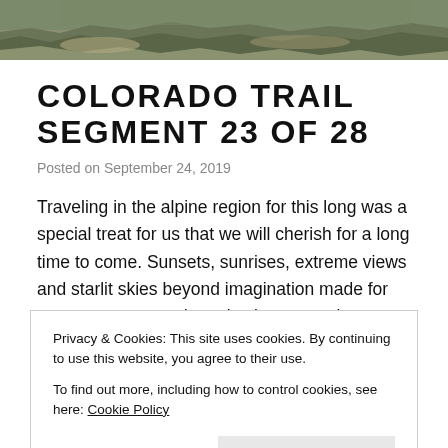[Figure (photo): Landscape/nature photo of an alpine trail area with rocky terrain and sparse vegetation, partially cropped at top]
COLORADO TRAIL SEGMENT 23 OF 28
Posted on September 24, 2019
Traveling in the alpine region for this long was a special treat for us that we will cherish for a long time to come. Sunsets, sunrises, extreme views and starlit skies beyond imagination made for great moments and everlasting memories. Colorado Trail
Privacy & Cookies: This site uses cookies. By continuing to use this website, you agree to their use.
To find out more, including how to control cookies, see here: Cookie Policy
[Figure (other): Social media share icons: Facebook (blue circle), Twitter (blue circle), Pinterest (red circle), LinkedIn (blue circle)]